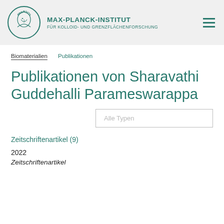MAX-PLANCK-INSTITUT FÜR KOLLOID- UND GRENZFLÄCHENFORSCHUNG
Biomaterialien   Publikationen
Publikationen von Sharavathi Guddehalli Parameswarappa
Alle Typen
Zeitschriftenartikel (9)
2022
Zeitschriftenartikel